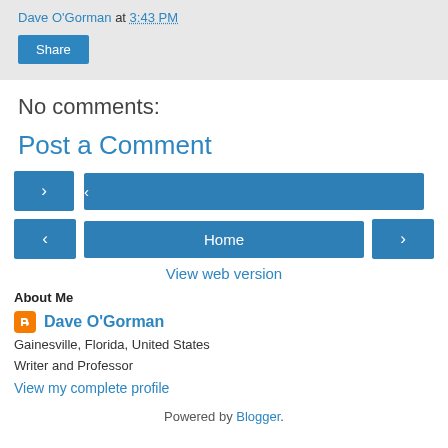Dave O'Gorman at 3:43 PM
Share
No comments:
Post a Comment
[Figure (other): Navigation buttons: left arrow, Home, right arrow]
View web version
About Me
Dave O'Gorman
Gainesville, Florida, United States
Writer and Professor
View my complete profile
Powered by Blogger.